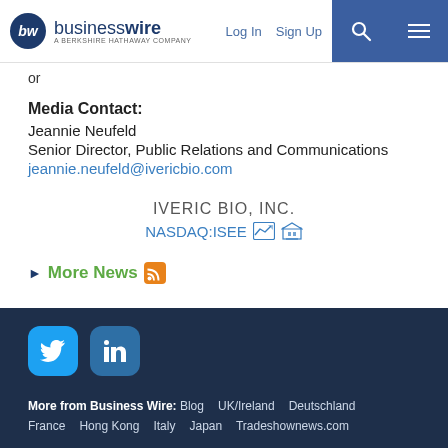businesswire — A BERKSHIRE HATHAWAY COMPANY | Log In | Sign Up
or
Media Contact:
Jeannie Neufeld
Senior Director, Public Relations and Communications
jeannie.neufeld@ivericbio.com
IVERIC BIO, INC.
NASDAQ:ISEE
More News
More from Business Wire: Blog  UK/Ireland  Deutschland  France  Hong Kong  Italy  Japan  Tradeshownews.com